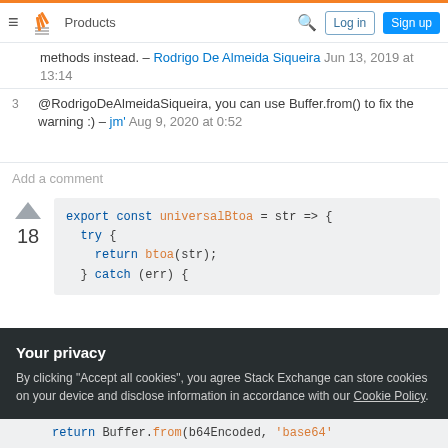≡  [Stack logo]  Products  🔍  Log in  Sign up
methods instead. – Rodrigo De Almeida Siqueira Jun 13, 2019 at 13:14
3  @RodrigoDeAlmeidaSiqueira, you can use Buffer.from() to fix the warning :) – jm' Aug 9, 2020 at 0:52
Add a comment
[Figure (screenshot): Code block showing: export const universalBtoa = str => { try { return btoa(str); } catch (err) {]
Your privacy
By clicking "Accept all cookies", you agree Stack Exchange can store cookies on your device and disclose information in accordance with our Cookie Policy.
Accept all cookies   Customize settings
return Buffer.from(b64Encoded, 'base64'